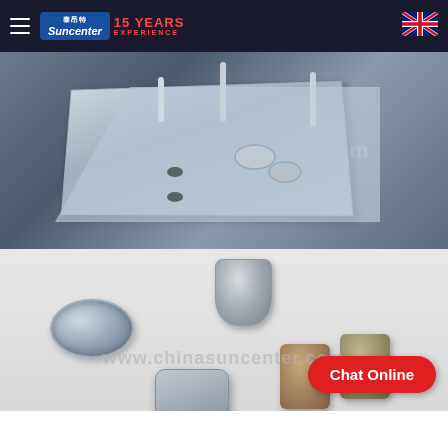Suncenter 15 YEARS EXPERIENCE
[Figure (photo): Metal plate with screws, bolts and nuts arranged on a dark surface, with watermark www.chinasuncenter.com]
[Figure (photo): Close-up of various metal press-fit nuts and standoffs on light grey background, with watermark www.chinasuncenter.com and Chat Online button]